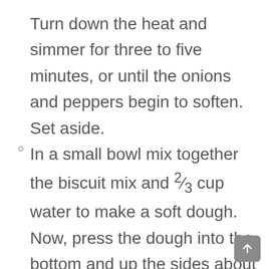Turn down the heat and simmer for three to five minutes, or until the onions and peppers begin to soften. Set aside.
In a small bowl mix together the biscuit mix and ⅔ cup water to make a soft dough. Now, press the dough into the bottom and up the sides about ½ inch in the prepared baking dish. The dough is sticky, so I used parchment paper to press